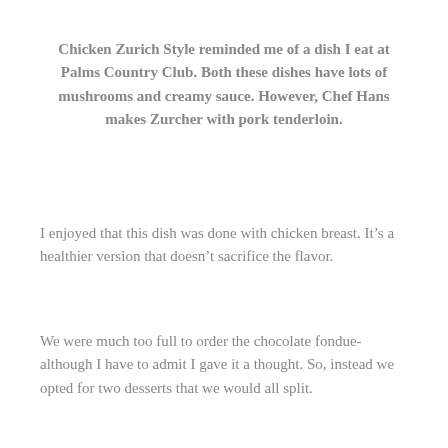Chicken Zurich Style reminded me of a dish I eat at Palms Country Club. Both these dishes have lots of mushrooms and creamy sauce. However, Chef Hans makes Zurcher with pork tenderloin.
I enjoyed that this dish was done with chicken breast. It’s a healthier version that doesn’t sacrifice the flavor.
We were much too full to order the chocolate fondue-although I have to admit I gave it a thought. So, instead we opted for two desserts that we would all split.